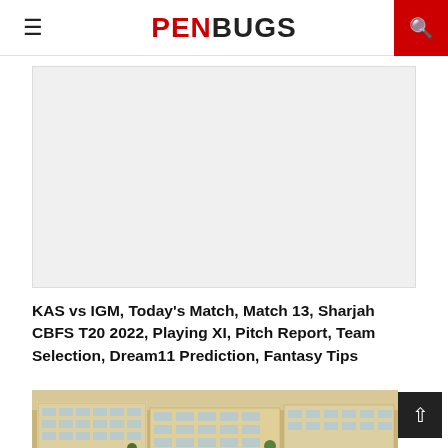PENBUGS
[Figure (other): Advertisement placeholder image — light grey rectangle]
KAS vs IGM, Today's Match, Match 13, Sharjah CBFS T20 2022, Playing XI, Pitch Report, Team Selection, Dream11 Prediction, Fantasy Tips
[Figure (photo): Aerial/street-level photo of a multi-storey commercial or institutional building complex in Sharjah, UAE]